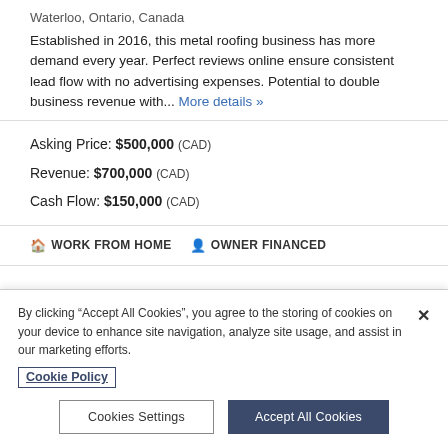Waterloo, Ontario, Canada
Established in 2016, this metal roofing business has more demand every year. Perfect reviews online ensure consistent lead flow with no advertising expenses. Potential to double business revenue with... More details »
Asking Price: $500,000 (CAD)
Revenue: $700,000 (CAD)
Cash Flow: $150,000 (CAD)
🏠 WORK FROM HOME  👤 OWNER FINANCED
By clicking "Accept All Cookies", you agree to the storing of cookies on your device to enhance site navigation, analyze site usage, and assist in our marketing efforts. Cookie Policy
Cookies Settings
Accept All Cookies